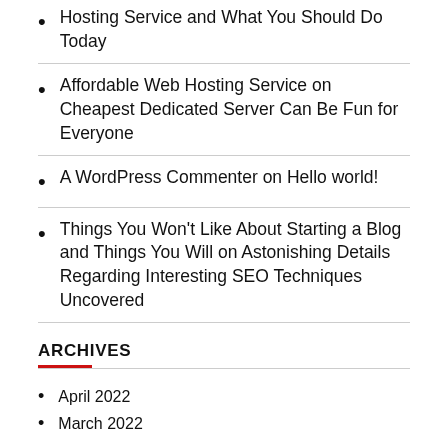Hosting Service and What You Should Do Today
Affordable Web Hosting Service on Cheapest Dedicated Server Can Be Fun for Everyone
A WordPress Commenter on Hello world!
Things You Won't Like About Starting a Blog and Things You Will on Astonishing Details Regarding Interesting SEO Techniques Uncovered
ARCHIVES
April 2022
March 2022